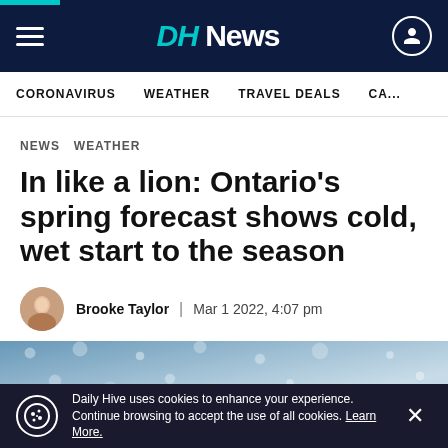DH News
CORONAVIRUS   WEATHER   TRAVEL DEALS   CA...
NEWS   WEATHER
In like a lion: Ontario's spring forecast shows cold, wet start to the season
Brooke Taylor  |  Mar 1 2022, 4:07 pm
[Figure (photo): Rainy weather photo showing raindrops on a surface]
Daily Hive uses cookies to enhance your experience. Continue browsing to accept the use of all cookies. Learn More.